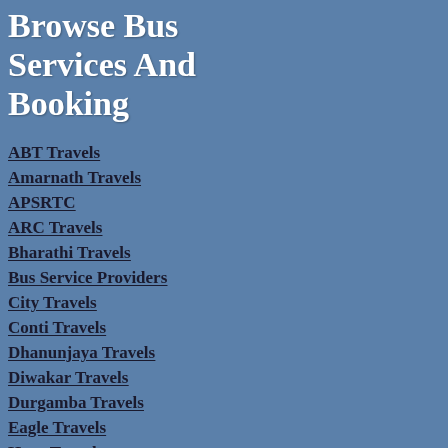Browse Bus Services And Booking
ABT Travels
Amarnath Travels
APSRTC
ARC Travels
Bharathi Travels
Bus Service Providers
City Travels
Conti Travels
Dhanunjaya Travels
Diwakar Travels
Durgamba Travels
Eagle Travels
Hans Travels
Heena Travels
HKB Travels
Jabbar Travels
Kallada Travels
Kannathal Travels